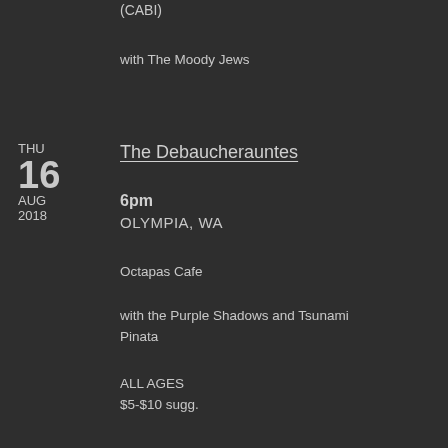(CABI)
with The Moody Jews
THU
16
AUG
2018
The Debaucherauntes
6pm
OLYMPIA, WA
Octapas Cafe
with the Purple Shadows and Tsunami Pinata
ALL AGES
$5-$10 sugg.